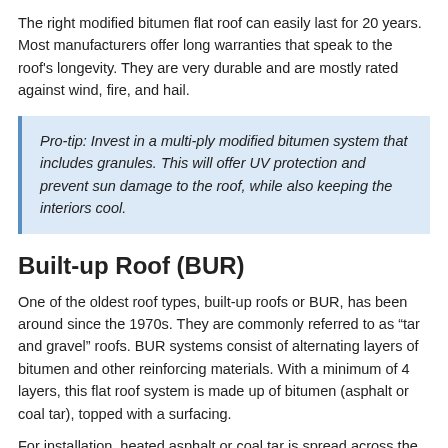The right modified bitumen flat roof can easily last for 20 years. Most manufacturers offer long warranties that speak to the roof's longevity. They are very durable and are mostly rated against wind, fire, and hail.
Pro-tip: Invest in a multi-ply modified bitumen system that includes granules. This will offer UV protection and prevent sun damage to the roof, while also keeping the interiors cool.
Built-up Roof (BUR)
One of the oldest roof types, built-up roofs or BUR, has been around since the 1970s. They are commonly referred to as “tar and gravel” roofs. BUR systems consist of alternating layers of bitumen and other reinforcing materials. With a minimum of 4 layers, this flat roof system is made up of bitumen (asphalt or coal tar), topped with a surfacing.
For installation, heated asphalt or coal tar is spread across the